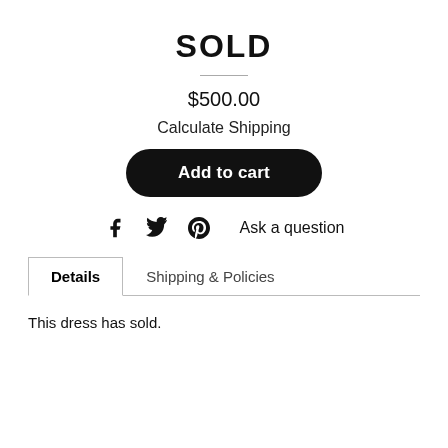SOLD
$500.00
Calculate Shipping
Add to cart
Ask a question
Details | Shipping & Policies
This dress has sold.